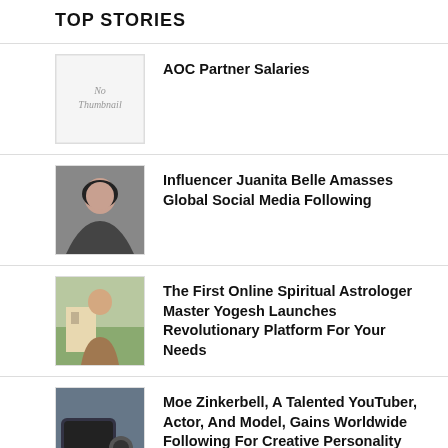TOP STORIES
[Figure (illustration): No Thumbnail placeholder image]
AOC Partner Salaries
[Figure (photo): Photo of a young woman with dark hair, selfie style]
Influencer Juanita Belle Amasses Global Social Media Following
[Figure (photo): Photo of a person standing in what appears to be a floral shop or garden area]
The First Online Spiritual Astrologer Master Yogesh Launches Revolutionary Platform For Your Needs
[Figure (photo): Photo of a dark car, possibly a Tesla, parked outdoors]
Moe Zinkerbell, A Talented YouTuber, Actor, And Model, Gains Worldwide Following For Creative Personality And Big Risk Taking
[Figure (photo): Photo showing a map with a blue padlock icon overlay]
Movical Software and Solutions Pte, Ltd to Solve All Unlocking Phone Issues